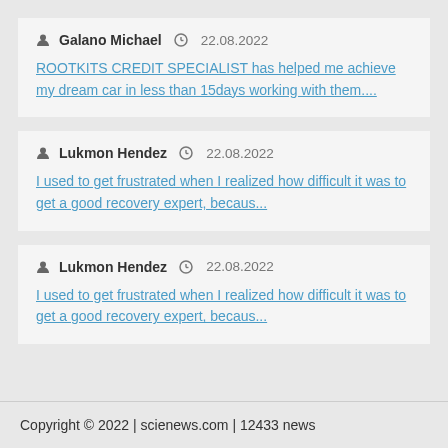Galano Michael  22.08.2022
ROOTKITS CREDIT SPECIALIST has helped me achieve my dream car in less than 15days working with them....
Lukmon Hendez  22.08.2022
I used to get frustrated when I realized how difficult it was to get a good recovery expert, becaus...
Lukmon Hendez  22.08.2022
I used to get frustrated when I realized how difficult it was to get a good recovery expert, becaus...
Copyright © 2022 | scienews.com | 12433 news